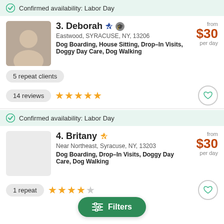Confirmed availability: Labor Day
3. Deborah — Eastwood, SYRACUSE, NY, 13206 — Dog Boarding, House Sitting, Drop-In Visits, Doggy Day Care, Dog Walking — from $30 per day — 5 repeat clients — 14 reviews — 5 stars
Confirmed availability: Labor Day
4. Britany — Near Northeast, Syracuse, NY, 13203 — Dog Boarding, Drop-In Visits, Doggy Day Care, Dog Walking — from $30 per day — 1 repeat client — 4 stars
[Figure (other): Green Filters button overlay at bottom center]